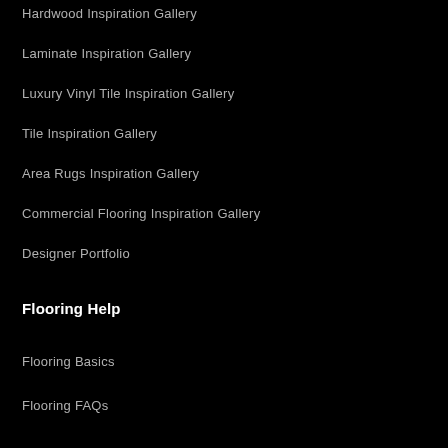Hardwood Inspiration Gallery
Laminate Inspiration Gallery
Luxury Vinyl Tile Inspiration Gallery
Tile Inspiration Gallery
Area Rugs Inspiration Gallery
Commercial Flooring Inspiration Gallery
Designer Portfolio
Flooring Help
Flooring Basics
Flooring FAQs